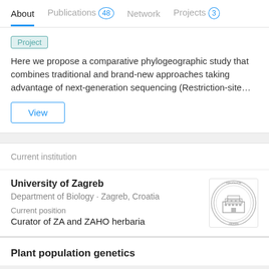About  Publications 48  Network  Projects 3
Project
Here we propose a comparative phylogeographic study that combines traditional and brand-new approaches taking advantage of next-generation sequencing (Restriction-site…
View
Current institution
University of Zagreb
Department of Biology · Zagreb, Croatia
Current position
Curator of ZA and ZAHO herbaria
[Figure (logo): University of Zagreb circular seal/logo in grey tones]
Plant population genetics